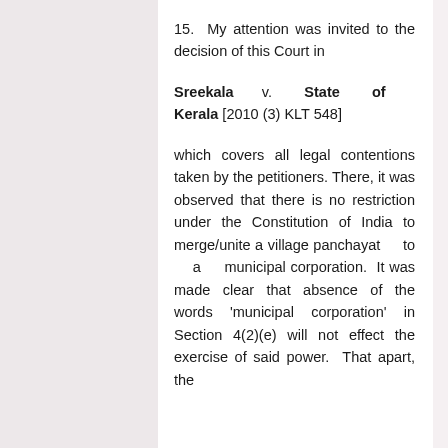15. My attention was invited to the decision of this Court in
Sreekala v. State of Kerala [2010 (3) KLT 548]
which covers all legal contentions taken by the petitioners. There, it was observed that there is no restriction under the Constitution of India to merge/unite a village panchayat to a municipal corporation. It was made clear that absence of the words 'municipal corporation' in Section 4(2)(e) will not effect the exercise of said power. That apart, the